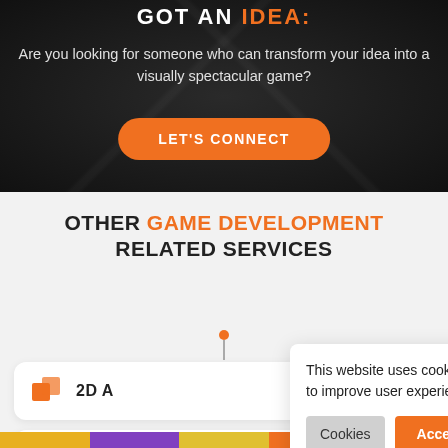GOT AN IDEA:
Are you looking for someone who can transform your idea into a visually spectacular game?
LET'S CONNECT
OTHER GAME DEVELOPMENT RELATED SERVICES
[Figure (illustration): Orange dot with vertical line separator]
2D A
2D A
This website uses cookies in order to improve user experience.
Cookies | Accept